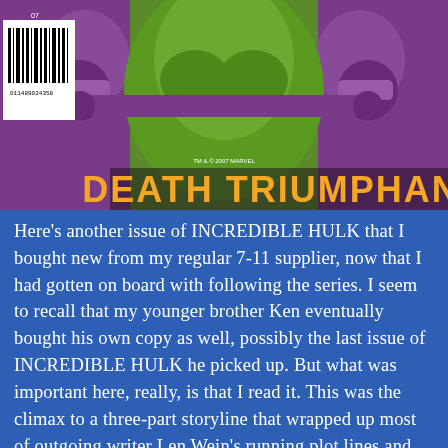[Figure (illustration): Comic book cover image showing the Hulk (green character) with purple mechanical arms/restraints, text 'DEATH TRIUMPHANT!' in orange letters at the bottom, a barcode on the left side, and 'TM & © 2007 MARVEL' text in the center.]
Here's another issue of INCREDIBLE HULK that I bought new from my regular 7-11 supplier, now that I had gotten on board with following the series. I seem to recall that my younger brother Ken eventually bought his own copy as well, possibly the last issue of INCREDIBLE HULK he picked up. But what was important here, really, is that I read it. This was the climax to a three-part storyline that wrapped up most of outgoing writer Len Wein's running plot lines and cleared the way for new writer